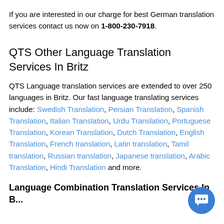If you are interested in our charge for best German translation services contact us now on 1-800-230-7918.
QTS Other Language Translation Services In Britz
QTS Language translation services are extended to over 250 languages in Britz. Our fast language translating services include: Swedish Translation, Persian Translation, Spanish Translation, Italian Translation, Urdu Translation, Portuguese Translation, Korean Translation, Dutch Translation, English Translation, French translation, Latin translation, Tamil translation, Russian translation, Japanese translation, Arabic Translation, Hindi Translation and more.
Language Combination Translation Services In Britz